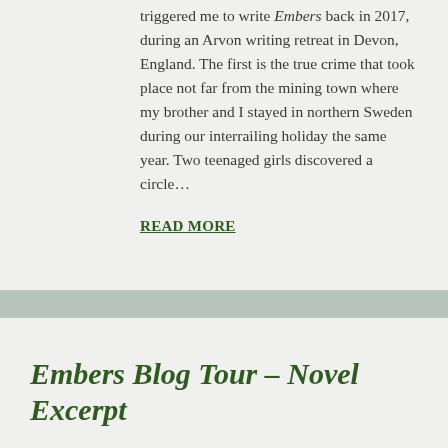triggered me to write Embers back in 2017, during an Arvon writing retreat in Devon, England. The first is the true crime that took place not far from the mining town where my brother and I stayed in northern Sweden during our interrailing holiday the same year. Two teenaged girls discovered a circle…
READ MORE
Embers Blog Tour – Novel Excerpt
'Just a bit further, please!'
Ellen wanted to yank her brother off his bike. They'd been cycling around Svartjokk all day,